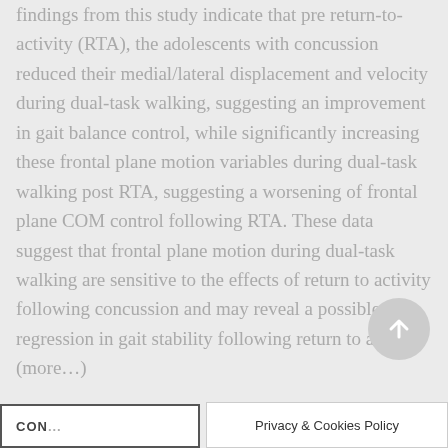findings from this study indicate that pre return-to-activity (RTA), the adolescents with concussion reduced their medial/lateral displacement and velocity during dual-task walking, suggesting an improvement in gait balance control, while significantly increasing these frontal plane motion variables during dual-task walking post RTA, suggesting a worsening of frontal plane COM control following RTA. These data suggest that frontal plane motion during dual-task walking are sensitive to the effects of return to activity following concussion and may reveal a possible regression in gait stability following return to activity. (more…)
[Figure (other): Circular scroll-to-top button with upward arrow]
Privacy & Cookies Policy
CON...